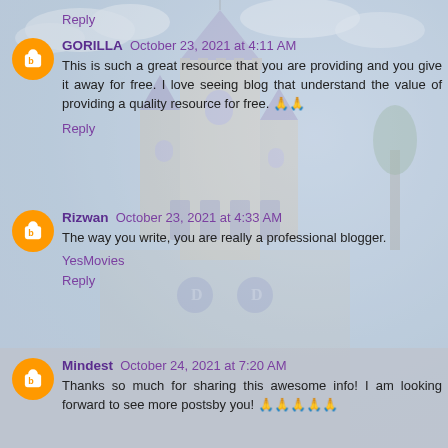Reply
GORILLA  October 23, 2021 at 4:11 AM
This is such a great resource that you are providing and you give it away for free. I love seeing blog that understand the value of providing a quality resource for free. 🙏🙏
Reply
Rizwan  October 23, 2021 at 4:33 AM
The way you write, you are really a professional blogger.
YesMovies
Reply
Mindest  October 24, 2021 at 7:20 AM
Thanks so much for sharing this awesome info! I am looking forward to see more postsby you! 🙏🙏🙏🙏🙏